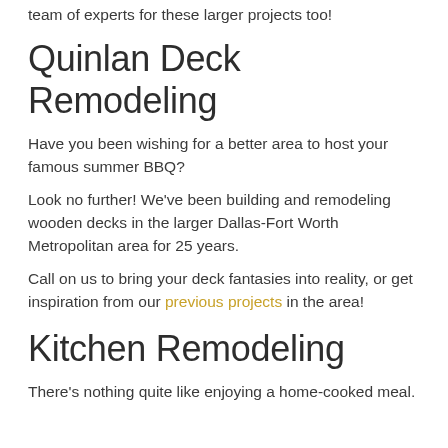team of experts for these larger projects too!
Quinlan Deck Remodeling
Have you been wishing for a better area to host your famous summer BBQ?
Look no further! We've been building and remodeling wooden decks in the larger Dallas-Fort Worth Metropolitan area for 25 years.
Call on us to bring your deck fantasies into reality, or get inspiration from our previous projects in the area!
Kitchen Remodeling
There's nothing quite like enjoying a home-cooked meal.